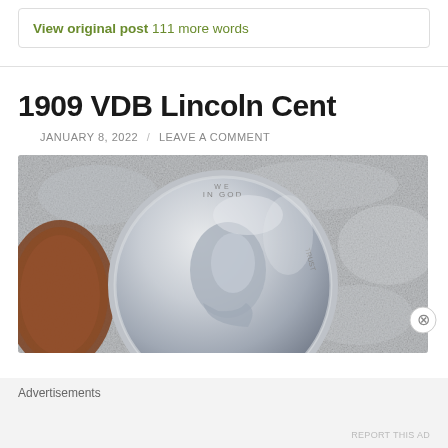View original post 111 more words
1909 VDB Lincoln Cent
JANUARY 8, 2022 / LEAVE A COMMENT
[Figure (photo): Close-up photograph of a 1909 VDB Lincoln cent coin showing Lincoln's portrait with 'IN GOD WE TRUST' inscription, silver/gray toned, against a textured gray background. A partial copper-colored coin is visible on the left edge.]
Advertisements